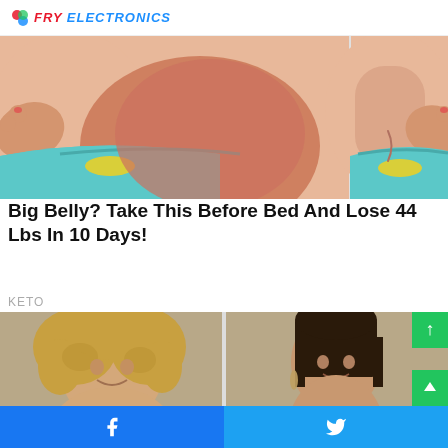FRY ELECTRONICS
[Figure (illustration): Cartoon illustration showing two female torsos side by side, one with a large belly and one slim, wearing colorful swimwear/bikinis, demonstrating before/after weight loss concept]
Big Belly? Take This Before Bed And Lose 44 Lbs In 10 Days!
KETO
[Figure (photo): Before and after weight loss photos showing two women side by side; left woman has curly blonde hair and appears heavier, right woman has straight dark hair and appears slimmer, both photographed in similar poses]
Facebook share button | Twitter share button